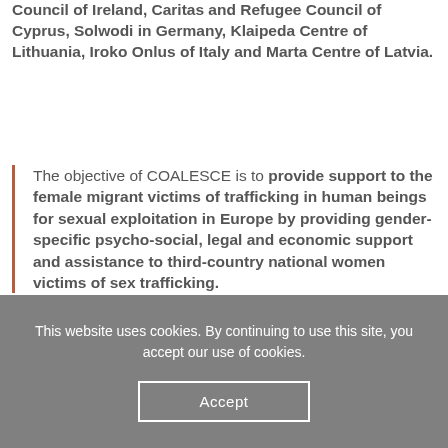Council of Ireland, Caritas and Refugee Council of Cyprus, Solwodi in Germany, Klaipeda Centre of Lithuania, Iroko Onlus of Italy and Marta Centre of Latvia.
The objective of COALESCE is to provide support to the female migrant victims of trafficking in human beings for sexual exploitation in Europe by providing gender-specific psycho-social, legal and economic support and assistance to third-country national women victims of sex trafficking.
This website uses cookies. By continuing to use this site, you accept our use of cookies.